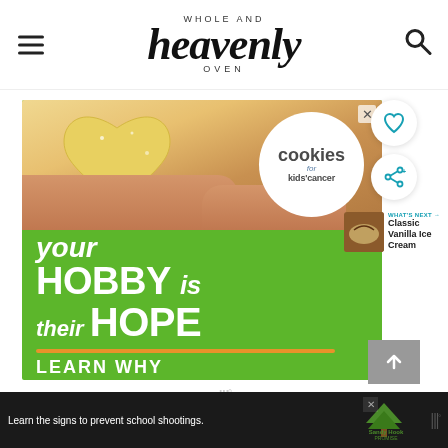Whole and Heavenly Oven
[Figure (infographic): Advertisement for Cookies for Kids' Cancer. Green background with hands holding a heart-shaped cookie. Text reads: your HOBBY is their HOPE LEARN WHY]
[Figure (infographic): Sidebar with heart/like icon button and share button, plus What's Next section with Classic Vanilla Ice Cream thumbnail]
[Figure (infographic): Bottom banner ad: Learn the signs to prevent school shootings. Sandy Hook Promise logo.]